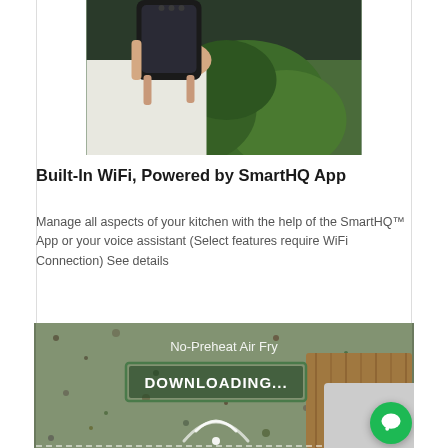[Figure (photo): Person holding a smartphone with a green plant in the background]
Built-In WiFi, Powered by SmartHQ App
Manage all aspects of your kitchen with the help of the SmartHQ™ App or your voice assistant (Select features require WiFi Connection) See details
[Figure (photo): Kitchen countertop with granite texture showing 'No-Preheat Air Fry' text and 'DOWNLOADING...' overlay with WiFi symbol and a wooden cutting board]